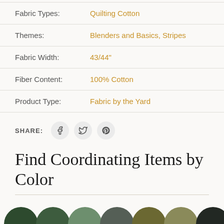| Fabric Types: | Quilting Cotton |
| Themes: | Blenders and Basics, Stripes |
| Fabric Width: | 43/44" |
| Fiber Content: | 100% Cotton |
| Product Type: | Fabric by the Yard |
SHARE:
Find Coordinating Items by Color
[Figure (illustration): Seven color swatches shown as half-circles at bottom of page in shades of green, olive, and near-black]